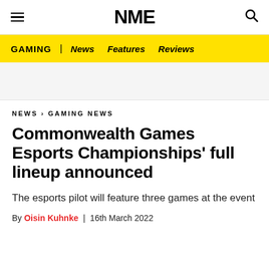NME
GAMING | News Features Reviews
NEWS › GAMING NEWS
Commonwealth Games Esports Championships' full lineup announced
The esports pilot will feature three games at the event
By Oisin Kuhnke | 16th March 2022